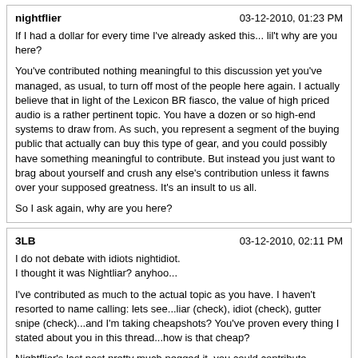nightflier | 03-12-2010, 01:23 PM
If I had a dollar for every time I've already asked this... lil't why are you here?

You've contributed nothing meaningful to this discussion yet you've managed, as usual, to turn off most of the people here again. I actually believe that in light of the Lexicon BR fiasco, the value of high priced audio is a rather pertinent topic. You have a dozen or so high-end systems to draw from. As such, you represent a segment of the buying public that actually can buy this type of gear, and you could possibly have something meaningful to contribute. But instead you just want to brag about yourself and crush any else's contribution unless it fawns over your supposed greatness. It's an insult to us all.

So I ask again, why are you here?
3LB | 03-12-2010, 02:11 PM
I do not debate with idiots nightidiot.
I thought it was Nightliar? anyhoo...

I've contributed as much to the actual topic as you have. I haven't resorted to name calling: lets see...liar (check), idiot (check), gutter snipe (check)...and I'm taking cheapshots? You've proven every thing I stated about you in this thread...how is that cheap?

Nightflier's last post pretty much pegged it, you could contribute something of real substance, and yet this is how the majority of threads involving you wind up.
Sir Terrence the Terrible | 03-12-2010, 03:29 PM
I thought it was Nightliar? anyhoo...

I've contributed as much to the actual topic as you have. I haven't resorted to name calling: lets see...liar (check), idiot (check), gutter snipe (check)...and I'm